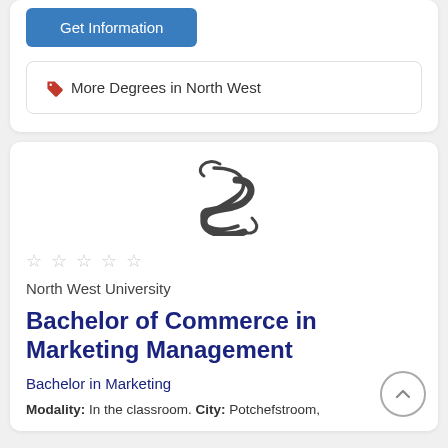Get Information
🏷 More Degrees in North West
[Figure (logo): Stylized letter S logo for North West University, dark grey color]
☆ ☆ ☆ ☆ ☆
North West University
Bachelor of Commerce in Marketing Management
Bachelor in Marketing
Modality: In the classroom. City: Potchefstroom,